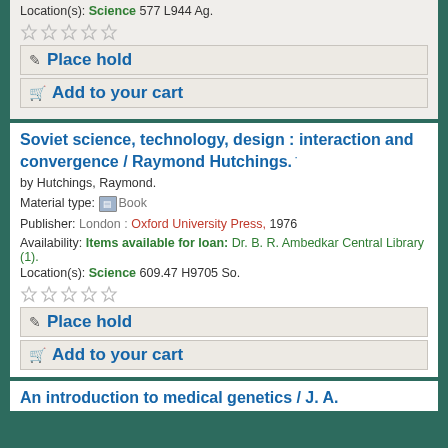Location(s): Science 577 L944 Ag.
[Figure (other): Five empty star rating icons]
Place hold
Add to your cart
Soviet science, technology, design : interaction and convergence / Raymond Hutchings.
by Hutchings, Raymond.
Material type: Book
Publisher: London : Oxford University Press, 1976
Availability: Items available for loan: Dr. B. R. Ambedkar Central Library (1).
Location(s): Science 609.47 H9705 So.
[Figure (other): Five empty star rating icons]
Place hold
Add to your cart
An introduction to medical genetics / J. A.